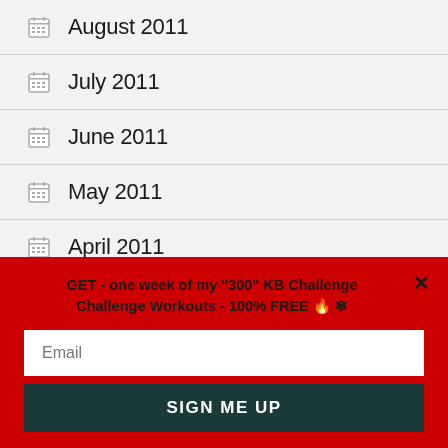August 2011
July 2011
June 2011
May 2011
April 2011
March 2011
GET - one week of my "300" KB Challenge Challenge Workouts - 100% FREE 🔥 ❄
Email
SIGN ME UP